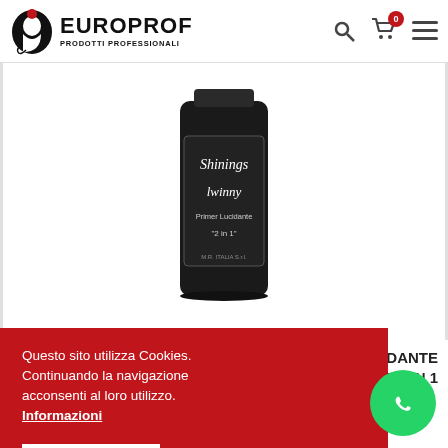[Figure (logo): Europrof logo with stylized woman head silhouette in red/black and text EUROPROF PRODOTTI PROFESSIONALI]
[Figure (photo): Dark bottle product - Shinings Lwinny Primer Lucidante 2 in 1 nail product on white background]
LUCIDANTE NENTE 2 IN 1
Questo sito utilizza Cookies. Continuando la navigazione acconsenti al loro utilizzo. Informazioni
Accetto